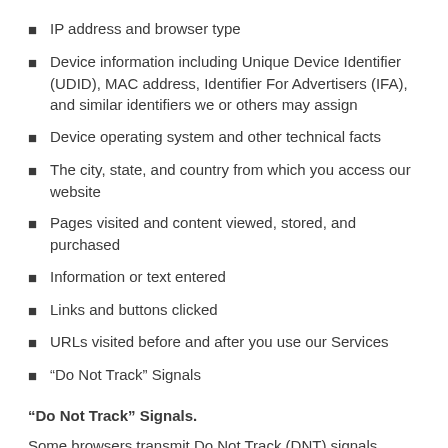IP address and browser type
Device information including Unique Device Identifier (UDID), MAC address, Identifier For Advertisers (IFA), and similar identifiers we or others may assign
Device operating system and other technical facts
The city, state, and country from which you access our website
Pages visited and content viewed, stored, and purchased
Information or text entered
Links and buttons clicked
URLs visited before and after you use our Services
“Do Not Track” Signals
“Do Not Track” Signals.
Some browsers transmit Do Not Track (DNT) signals...